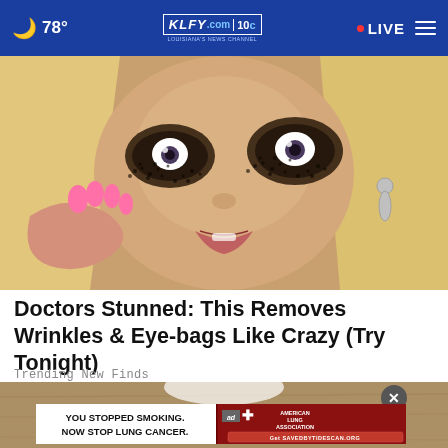78° KLFY.com 10 LIVE
[Figure (photo): Close-up photo of a blonde woman with exaggerated dark eye makeup (coffee grounds or similar dark granular substance around her eyes), holding her face with pink-nailed fingers, wearing dangling earrings, mouth slightly open.]
Doctors Stunned: This Removes Wrinkles & Eye-bags Like Crazy (Try Tonight)
Trending New Finds
[Figure (photo): Partial bottom image with a close-up button overlay and an advertisement banner from the American Lung Association reading: YOU STOPPED SMOKING. NOW STOP LUNG CANCER. Get SAVEDBYTIDESCAN.ORG]